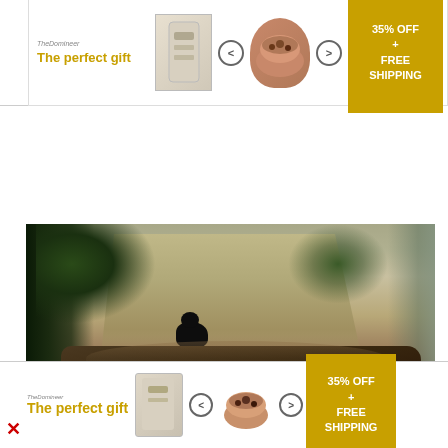[Figure (photo): Advertisement banner at top: 'The perfect gift' with product images, navigation arrows, and '35% OFF + FREE SHIPPING' offer box in gold]
[Figure (photo): Outdoor photograph showing a muddy path or riverbed with a black animal (dog or bear) standing in the middle distance, surrounded by green vegetation on the left and a large mound of dark soil/mud in the foreground]
Top Headlines: Person of Interest in Pickford Homicide Investigation
[Figure (photo): Advertisement banner at bottom: 'The perfect gift' with product images, navigation arrows, and '35% OFF + FREE SHIPPING' offer box in gold, with a red X close button on left]